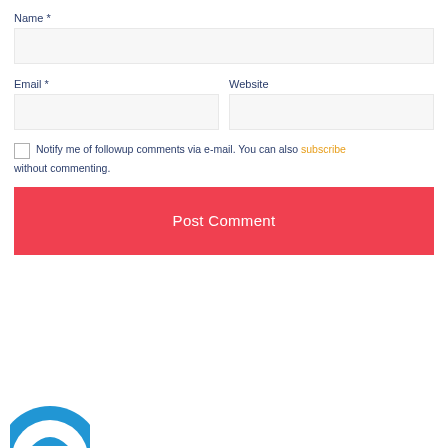Name *
[Figure (other): Empty text input field for Name]
Email *
[Figure (other): Empty text input field for Email]
Website
[Figure (other): Empty text input field for Website]
Notify me of followup comments via e-mail. You can also subscribe without commenting.
[Figure (other): Post Comment button, red background, white text]
[Figure (logo): Partial blue circular logo visible at bottom left]